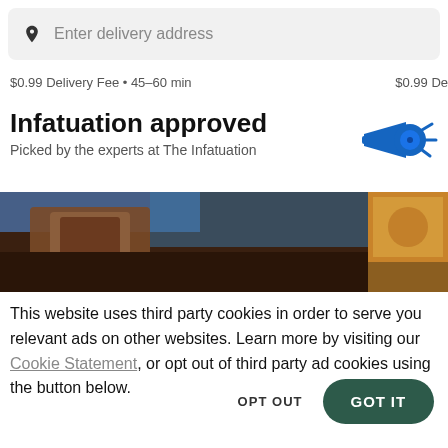[Figure (screenshot): Search bar with location pin icon and placeholder text 'Enter delivery address']
$0.99 Delivery Fee • 45–60 min   $0.99 De
Infatuation approved
Picked by the experts at The Infatuation
[Figure (illustration): Blue megaphone icon with motion lines]
[Figure (photo): Food/coffee image strip showing close-up of brown/wooden items and food on right side]
This website uses third party cookies in order to serve you relevant ads on other websites. Learn more by visiting our Cookie Statement, or opt out of third party ad cookies using the button below.
OPT OUT
GOT IT